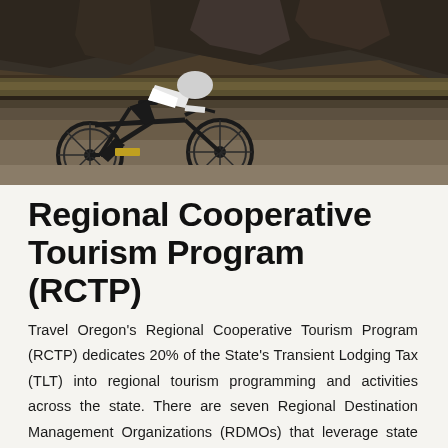[Figure (photo): Cyclist riding a road bicycle on a paved road with rocky terrain and dry brush in the background. High contrast, dark tone photograph taken from the side.]
Regional Cooperative Tourism Program (RCTP)
Travel Oregon's Regional Cooperative Tourism Program (RCTP) dedicates 20% of the State's Transient Lodging Tax (TLT) into regional tourism programming and activities across the state. There are seven Regional Destination Management Organizations (RDMOs) that leverage state dollars generated by the TLT along with private and